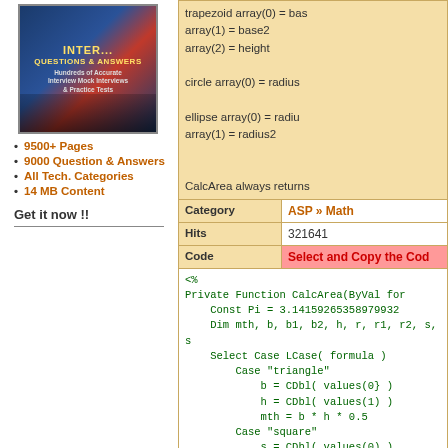[Figure (illustration): Book cover for Interview Questions & Answers with people image]
9500+ Pages
9000 Question & Answers
All Tech. Categories
14 MB Content
Get it now !!
trapezoid array(0) = base array(1) = base2 array(2) = height
circle array(0) = radius
ellipse array(0) = radius array(1) = radius2
CalcArea always returns
| Category | ASP » Math |
| --- | --- |
| Hits | 321641 |
| Code | Select and Copy the Code |
<%
Private Function CalcArea(ByVal for
    Const Pi = 3.14159265358979932
    Dim mth, b, b1, b2, h, r, r1, r2, s, s1
    Select Case LCase( formula )
        Case "triangle"
            b = CDbl( values(0} )
            h = CDbl( values(1) )
            mth = b * h * 0.5
        Case "square"
            s = CDbl( values(0) )
            mth = s ^ 2
        Case "rectangle"
            s1 = CDbl( values(0) )
            s2 = CDbl( values(1) )
            mth = s1 * s2